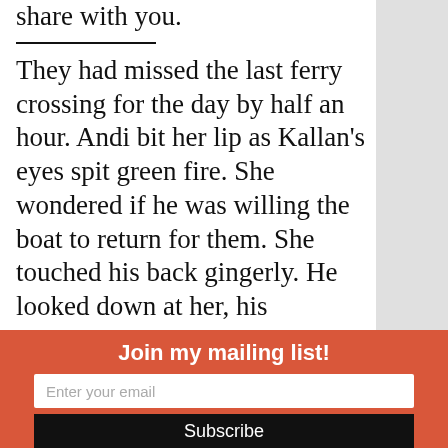share with you.
They had missed the last ferry crossing for the day by half an hour. Andi bit her lip as Kallan's eyes spit green fire. She wondered if he was willing the boat to return for them. She touched his back gingerly. He looked down at her, his expression only softening a little. “There’s a very cute inn about five minutes back the way we came. We can spend the night there and be back for the first ferry tomorrow.”
Join my mailing list!
Enter your email
Subscribe